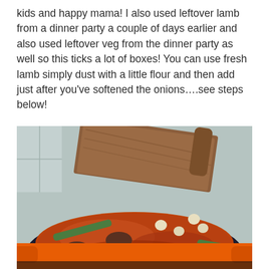kids and happy mama! I also used leftover lamb from a dinner party a couple of days earlier and also used leftover veg from the dinner party as well so this ticks a lot of boxes! You can use fresh lamb simply dust with a little flour and then add just after you've softened the onions….see steps below!
[Figure (photo): An overhead close-up photo of a stew cooking in an orange cast iron pot. The stew contains chunks of lamb, green beans, white beans/chickpeas, and a rich tomato-based sauce. A wooden spoon rests on the pot lid.]